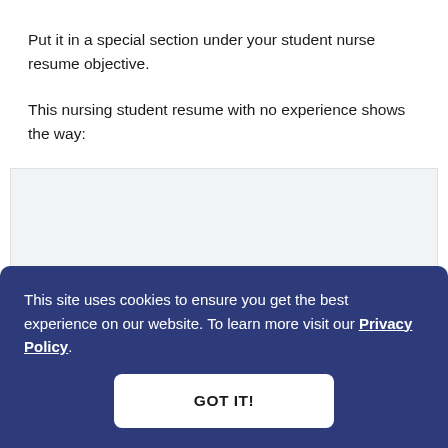Put it in a special section under your student nurse resume objective.
This nursing student resume with no experience shows the way:
[Figure (screenshot): Partial screenshot of a resume document, partially obscured by a cookie consent overlay. A bold section heading is partially visible at the bottom of the screenshot area.]
This site uses cookies to ensure you get the best experience on our website. To learn more visit our Privacy Policy.
GOT IT!